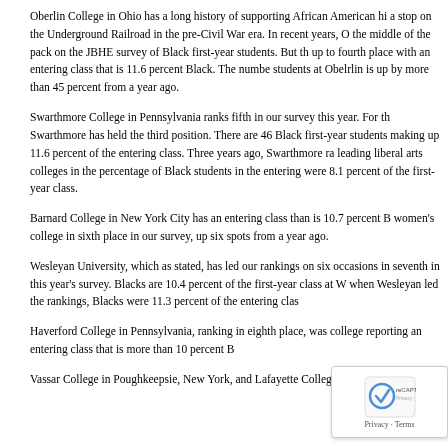Oberlin College in Ohio has a long history of supporting African American hi... a stop on the Underground Railroad in the pre-Civil War era. In recent years, O... the middle of the pack on the JBHE survey of Black first-year students. But th... up to fourth place with an entering class that is 11.6 percent Black. The numbe... students at Obelrlin is up by more than 45 percent from a year ago.
Swarthmore College in Pennsylvania ranks fifth in our survey this year. For th... Swarthmore has held the third position. There are 46 Black first-year students... making up 11.6 percent of the entering class. Three years ago, Swarthmore ra... leading liberal arts colleges in the percentage of Black students in the entering... were 8.1 percent of the first-year class.
Barnard College in New York City has an entering class than is 10.7 percent B... women's college in sixth place in our survey, up six spots from a year ago.
Wesleyan University, which as stated, has led our rankings on six occasions in... seventh in this year's survey. Blacks are 10.4 percent of the first-year class at W... when Wesleyan led the rankings, Blacks were 11.3 percent of the entering clas...
Haverford College in Pennsylvania, ranking in eighth place, was... college reporting an entering class that is more than 10 percent B...
Vassar College in Poughkeepsie, New York, and Lafayette College in Easton...